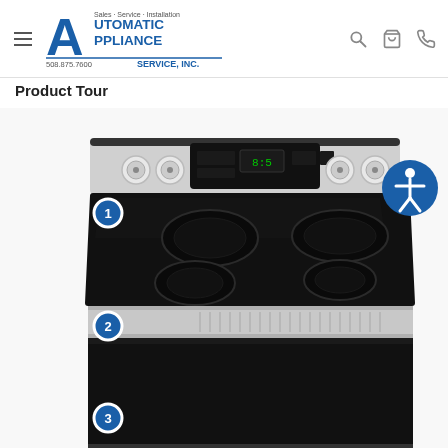Automatic Appliance Service, Inc. — Sales · Service · Installation — 508.875.7600
Product Tour
[Figure (photo): Product tour photo of an Amana/Whirlpool freestanding electric range in stainless steel and black glass cooktop, viewed from front-top angle. The control panel with knobs and digital display is visible along the top. The smooth black glass ceramic cooktop shows four burner elements (two large oval on left, two on right). A stainless steel drawer panel is below the cooktop. Three numbered blue circle badges (1, 2, 3) point to: 1 - the control/knob area on the left front, 2 - the drawer/storage area below cooktop, 3 - the oven door area. An accessibility icon (blue circle with white person figure) appears in the upper right of the image.]